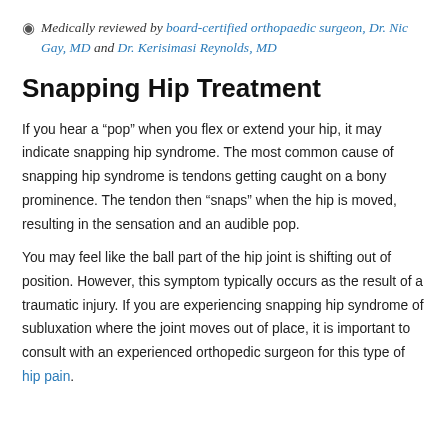Medically reviewed by board-certified orthopaedic surgeon, Dr. Nic Gay, MD and Dr. Kerisimasi Reynolds, MD
Snapping Hip Treatment
If you hear a "pop" when you flex or extend your hip, it may indicate snapping hip syndrome. The most common cause of snapping hip syndrome is tendons getting caught on a bony prominence. The tendon then "snaps" when the hip is moved, resulting in the sensation and an audible pop.
You may feel like the ball part of the hip joint is shifting out of position. However, this symptom typically occurs as the result of a traumatic injury. If you are experiencing snapping hip syndrome of subluxation where the joint moves out of place, it is important to consult with an experienced orthopedic surgeon for this type of hip pain.